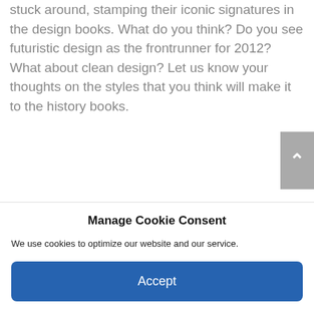stuck around, stamping their iconic signatures in the design books. What do you think? Do you see futuristic design as the frontrunner for 2012? What about clean design? Let us know your thoughts on the styles that you think will make it to the history books.
Manage Cookie Consent
We use cookies to optimize our website and our service.